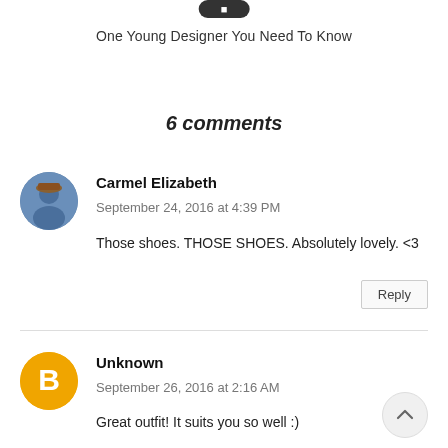[Figure (other): Dark pill-shaped button at top of page (partially cropped)]
One Young Designer You Need To Know
6 comments
[Figure (photo): Circular avatar photo of Carmel Elizabeth]
Carmel Elizabeth
September 24, 2016 at 4:39 PM
Those shoes. THOSE SHOES. Absolutely lovely. <3
Reply
[Figure (logo): Orange circular Blogger icon for Unknown commenter]
Unknown
September 26, 2016 at 2:16 AM
Great outfit! It suits you so well :)